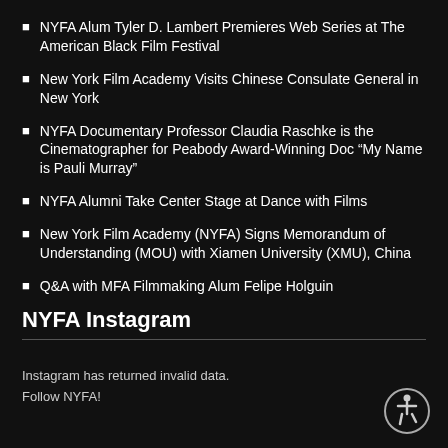NYFA Alum Tyler D. Lambert Premieres Web Series at The American Black Film Festival
New York Film Academy Visits Chinese Consulate General in New York
NYFA Documentary Professor Claudia Raschke is the Cinematographer for Peabody Award-Winning Doc “My Name is Pauli Murray”
NYFA Alumni Take Center Stage at Dance with Films
New York Film Academy (NYFA) Signs Memorandum of Understanding (MOU) with Xiamen University (XMU), China
Q&A with MFA Filmmaking Alum Felipe Holguin
NYFA Instagram
Instagram has returned invalid data.
Follow NYFA!